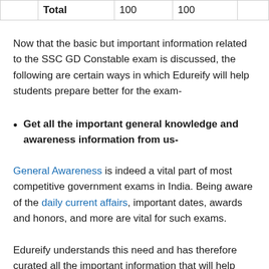|  | Total | 100 | 100 |
| --- | --- | --- | --- |
Now that the basic but important information related to the SSC GD Constable exam is discussed, the following are certain ways in which Edureify will help students prepare better for the exam-
Get all the important general knowledge and awareness information from us-
General Awareness is indeed a vital part of most competitive government exams in India. Being aware of the daily current affairs, important dates, awards and honors, and more are vital for such exams.
Edureify understands this need and has therefore curated all the important information that will help students be more prepared